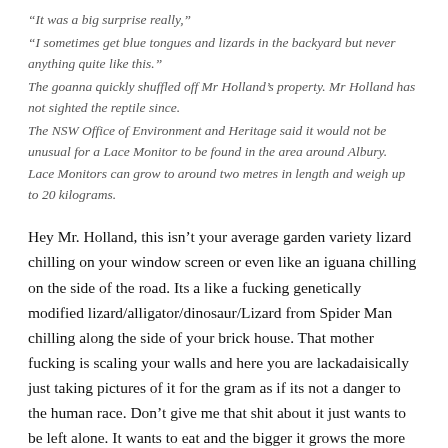“It was a big surprise really,”
“I sometimes get blue tongues and lizards in the backyard but never anything quite like this.”
The goanna quickly shuffled off Mr Holland’s property. Mr Holland has not sighted the reptile since.
The NSW Office of Environment and Heritage said it would not be unusual for a Lace Monitor to be found in the area around Albury.
Lace Monitors can grow to around two metres in length and weigh up to 20 kilograms.
Hey Mr. Holland, this isn’t your average garden variety lizard chilling on your window screen or even like an iguana chilling on the side of the road. Its a like a fucking genetically modified lizard/alligator/dinosaur/Lizard from Spider Man chilling along the side of your brick house. That mother fucking is scaling your walls and here you are lackadaisically just taking pictures of it for the gram as if its not a danger to the human race. Don’t give me that shit about it just wants to be left alone. It wants to eat and the bigger it grows the more